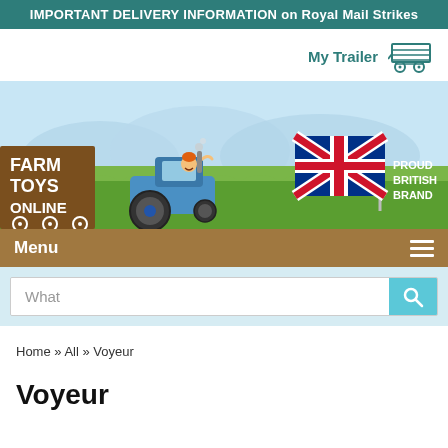IMPORTANT DELIVERY INFORMATION on Royal Mail Strikes
My Trailer
[Figure (illustration): Farm Toys Online hero banner with cartoon tractor driven by boy on green field, UK flag and 'PROUD BRITISH BRAND' text on right side]
Menu
What
Home » All » Voyeur
Voyeur